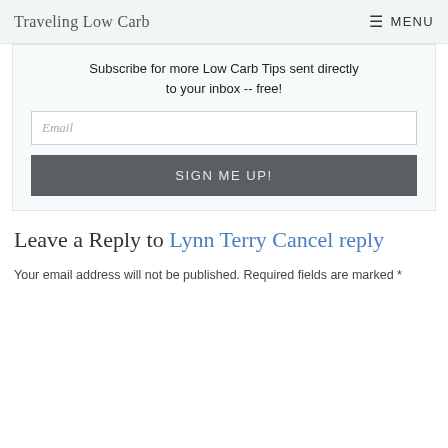Traveling Low Carb  MENU
Subscribe for more Low Carb Tips sent directly to your inbox -- free!
Email
SIGN ME UP!
Leave a Reply to Lynn Terry Cancel reply
Your email address will not be published. Required fields are marked *